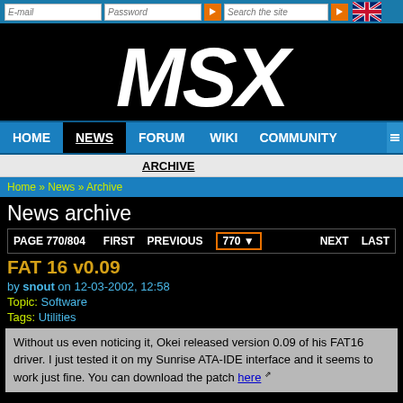E-mail | Password | Search the site
[Figure (logo): MSX logo in white italic bold text on black background]
HOME | NEWS | FORUM | WIKI | COMMUNITY
ARCHIVE
Home » News » Archive
News archive
PAGE 770/804   FIRST   PREVIOUS   770   NEXT   LAST
FAT 16 v0.09
by snout on 12-03-2002, 12:58
Topic: Software
Tags: Utilities
Without us even noticing it, Okei released version 0.09 of his FAT16 driver. I just tested it on my Sunrise ATA-IDE interface and it seems to work just fine. You can download the patch here